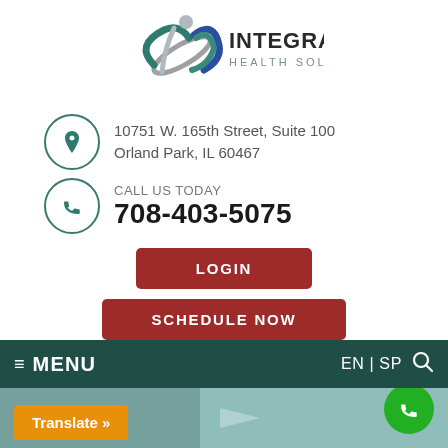[Figure (logo): Integrated Health Solutions logo with abstract figure and teal/blue/grey swoosh design]
10751 W. 165th Street, Suite 100
Orland Park, IL 60467
CALL US TODAY
708-403-5075
LOGIN
SCHEDULE NOW
≡ MENU   EN | SP 🔍
Translate »